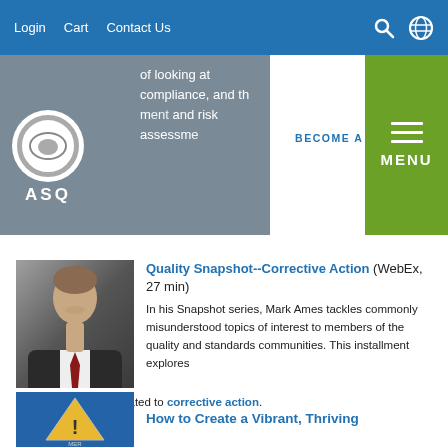Login  Cart  Contact Us
[Figure (logo): ASQ logo — circular emblem with ASQ text below, on grey background]
of looking at compliance, and the management and risk assessment
BECOME A MEMBER
[Figure (illustration): Green menu button with three horizontal white lines and MENU label]
[Figure (photo): Headshot of a middle-aged man in suit and tie, smiling]
Quality Snapshot--Corrective Action (WebEx, 27 min)
In his Snapshot series, Mark Ames tackles commonly misunderstood topics of interest to members of the quality and standards communities. This installment explores misunderstandings related to corrective action.
[Figure (photo): Blue background with yellow warning sign illustration]
How to Create a Vibrant, Thriving